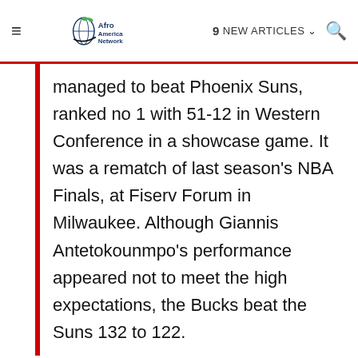≡  Afro America Network  9 NEW ARTICLES ∨  🔍
managed to beat Phoenix Suns, ranked no 1 with 51-12 in Western Conference in a showcase game. It was a rematch of last season's NBA Finals, at Fiserv Forum in Milwaukee. Although Giannis Antetokounmpo's performance appeared not to meet the high expectations, the Bucks beat the Suns 132 to 122.
The Phoenix Suns led the Milwaukee Bucks 76-72 midway through the third quarter. In the fouth quarter, Milwakee managed to lead by 121-119. The lead was short lived, but the Bucks came back.